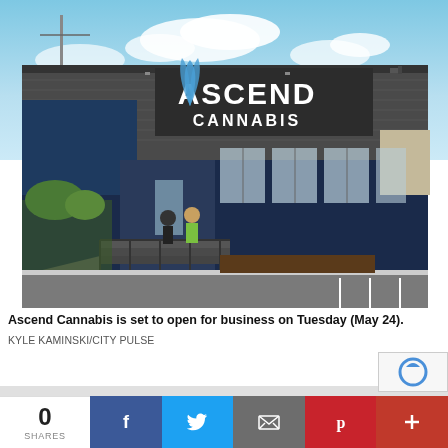[Figure (photo): Exterior photo of Ascend Cannabis dispensary building with large signage reading ASCEND CANNABIS, navy blue facade, parking lot in foreground, blue sky with clouds in background. People visible near entrance with ramps and railings.]
Ascend Cannabis is set to open for business on Tuesday (May 24).
KYLE KAMINSKI/CITY PULSE
0 SHARES
[Figure (infographic): Social sharing bar with Facebook, Twitter, Email, Pinterest, and plus buttons]